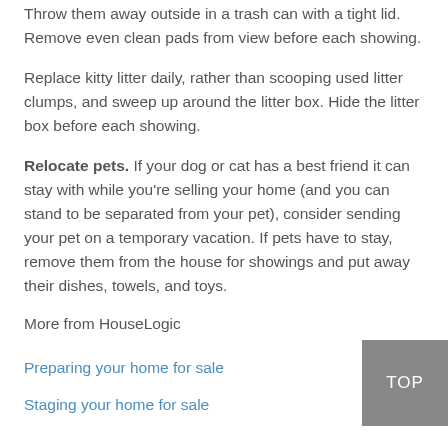Throw them away outside in a trash can with a tight lid. Remove even clean pads from view before each showing.
Replace kitty litter daily, rather than scooping used litter clumps, and sweep up around the litter box. Hide the litter box before each showing.
Relocate pets. If your dog or cat has a best friend it can stay with while you're selling your home (and you can stand to be separated from your pet), consider sending your pet on a temporary vacation. If pets have to stay, remove them from the house for showings and put away their dishes, towels, and toys.
More from HouseLogic
Preparing your home for sale
Staging your home for sale